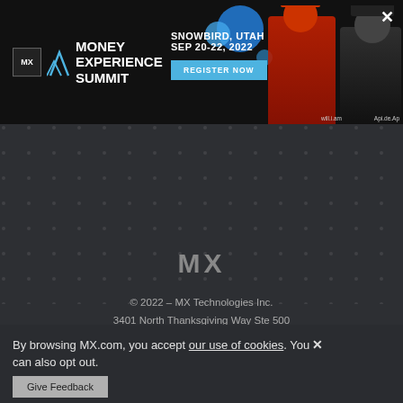[Figure (screenshot): MX Money Experience Summit banner ad. SNOWBIRD, UTAH SEP 20-22, 2022. REGISTER NOW button. Two people on right side (will.i.am and Api.de.Ap). Blue decorative circles. X close button.]
[Figure (logo): MX logo text in gray/white on dark background]
© 2022 – MX Technologies Inc.
3401 North Thanksgiving Way Ste 500
Lehi, UT 84043
(801) 669-5500
Privacy Policy
By browsing MX.com, you accept our use of cookies. You can also opt out.
Give Feedback